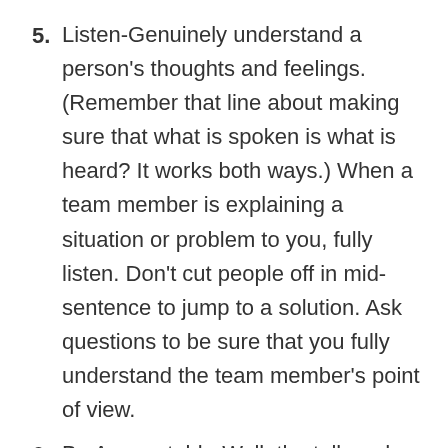5. Listen-Genuinely understand a person's thoughts and feelings. (Remember that line about making sure that what is spoken is what is heard? It works both ways.) When a team member is explaining a situation or problem to you, fully listen. Don't cut people off in mid-sentence to jump to a solution. Ask questions to be sure that you fully understand the team member's point of view.
6. Be Accountable-Walk the talk and keep commitments. No passing the blame